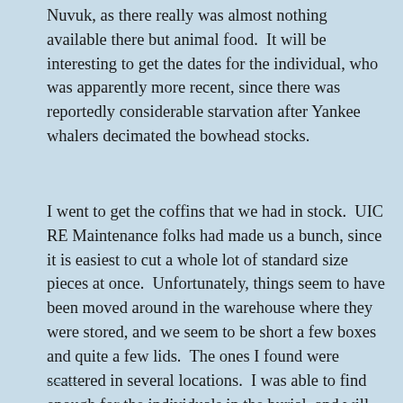Nuvuk, as there really was almost nothing available there but animal food.  It will be interesting to get the dates for the individual, who was apparently more recent, since there was reportedly considerable starvation after Yankee whalers decimated the bowhead stocks.
I went to get the coffins that we had in stock.  UIC RE Maintenance folks had made us a bunch, since it is easiest to cut a whole lot of standard size pieces at once.  Unfortunately, things seem to have been moved around in the warehouse where they were stored, and we seem to be short a few boxes and quite a few lids.  The ones I found were scattered in several locations.  I was able to find enough for the individuals in the burial, and will see about getting some new lids made later this week.